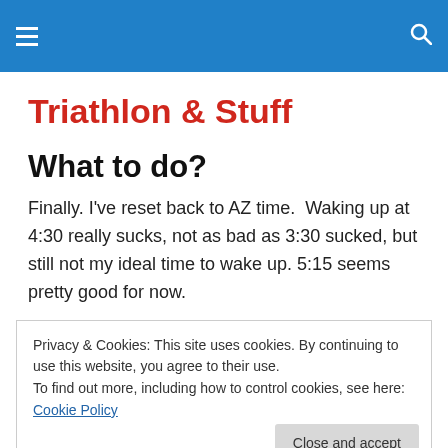Triathlon & Stuff — site navigation header
Triathlon & Stuff
What to do?
Finally. I've reset back to AZ time.  Waking up at 4:30 really sucks, not as bad as 3:30 sucked, but still not my ideal time to wake up. 5:15 seems pretty good for now.
Privacy & Cookies: This site uses cookies. By continuing to use this website, you agree to their use.
To find out more, including how to control cookies, see here: Cookie Policy
Now that I'm set back to normal time, my hamstring is